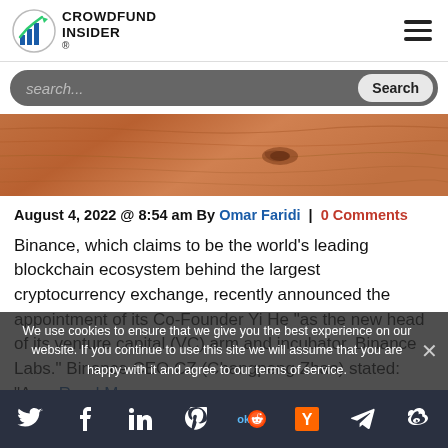[Figure (logo): Crowdfund Insider logo with bar chart icon and text]
[Figure (photo): Close-up photo of wooden surface with grain texture]
August 4, 2022 @ 8:54 am By Omar Faridi | 0 Comments
Binance, which claims to be the world's leading blockchain ecosystem behind the largest cryptocurrency exchange, recently announced the appointment of its Co-Founder Yi He "as the new head of its venture capital (VC) arm and incubator, Binance Labs." Binance CEO CZ (Changpeng Zhao) stated: "As... Read More
We use cookies to ensure that we give you the best experience on our website. If you continue to use this site we will assume that you are happy with it and agree to our terms of service.